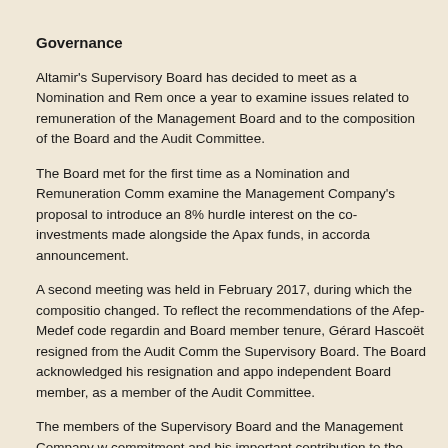Governance
Altamir's Supervisory Board has decided to meet as a Nomination and Remuneration Committee once a year to examine issues related to remuneration of the Management Board and to the composition of the Board and the Audit Committee.
The Board met for the first time as a Nomination and Remuneration Committee to examine the Management Company's proposal to introduce an 8% hurdle rate on the carried interest on the co-investments made alongside the Apax funds, in accordance with the IPO announcement.
A second meeting was held in February 2017, during which the composition of the Audit Committee changed. To reflect the recommendations of the Afep-Medef code regarding independence and Board member tenure, Gérard Hascoët resigned from the Audit Committee and from the Supervisory Board. The Board acknowledged his resignation and appointed Sophie Javary, independent Board member, as a member of the Audit Committee.
The members of the Supervisory Board and the Management Company warmly thanked him for his commitment and his important contribution to the Audit Committee.
* * * * * * * * * * * * * * *
2017 Calendar
Annual Shareholders' Meeting    28 April 20...